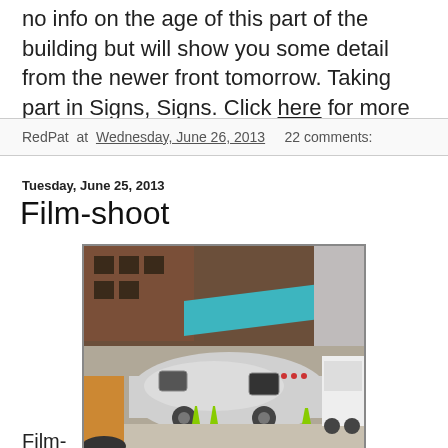no info on the age of this part of the building but will show you some detail from the newer front tomorrow. Taking part in Signs, Signs. Click here for more signs.
RedPat at Wednesday, June 26, 2013   22 comments:
Tuesday, June 25, 2013
Film-shoot
[Figure (photo): A silver Airstream trailer parked on a city street with green traffic cones underneath it. Brick buildings and a teal awning are visible in the background. A white van is parked to the right.]
Film-